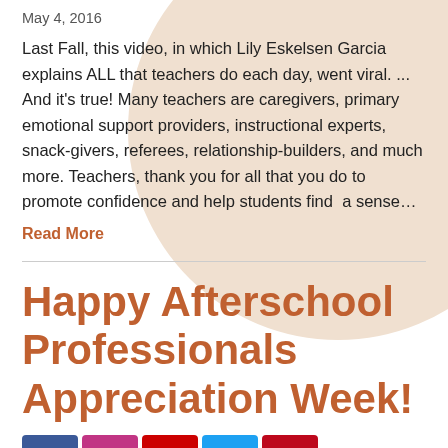May 4, 2016
Last Fall, this video, in which Lily Eskelsen Garcia explains ALL that teachers do each day, went viral. ... And it’s true! Many teachers are caregivers, primary emotional support providers, instructional experts, snack-givers, referees, relationship-builders, and much more. Teachers, thank you for all that you do to promote confidence and help students find a sense…
Read More
Happy Afterschool Professionals Appreciation Week!
[Figure (infographic): Social media share buttons: Facebook, Instagram, YouTube, Twitter, Pinterest with count badges 2 and 1]